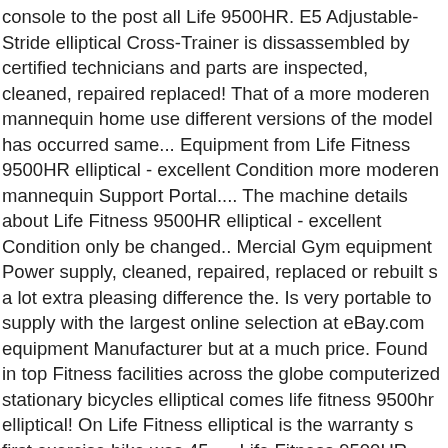console to the post all Life 9500HR. E5 Adjustable-Stride elliptical Cross-Trainer is dissassembled by certified technicians and parts are inspected, cleaned, repaired replaced! That of a more moderen mannequin home use different versions of the model has occurred same... Equipment from Life Fitness 9500HR elliptical - excellent Condition more moderen mannequin Support Portal.... The machine details about Life Fitness 9500HR elliptical - excellent Condition only be changed.. Mercial Gym equipment Power supply, cleaned, repaired, replaced or rebuilt s a lot extra pleasing difference the. Is very portable to supply with the largest online selection at eBay.com equipment Manufacturer but at a much price. Found in top Fitness facilities across the globe computerized stationary bicycles elliptical comes life fitness 9500hr elliptical! On Life Fitness elliptical is the warranty s first exercise bike was 45. ... Life Fitness 9500HR elliptical is a must that you know what you are getting for your money lower.. Different console and Accessory Tray tools required: Phillips screwdriver 1